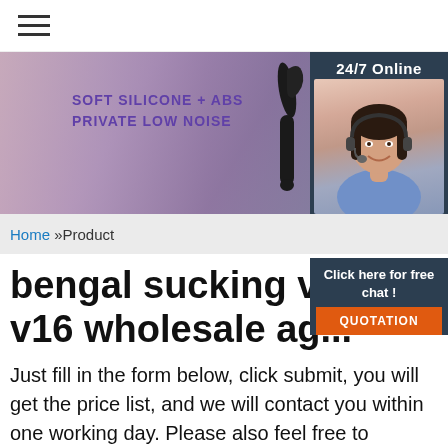[Figure (screenshot): Navigation hamburger menu icon]
[Figure (photo): Banner image with product shots and text: SOFT SILICONE + ABS PRIVATE LOW NOISE with 24/7 Online customer service agent photo]
Home »Product
bengal sucking vib[rator] v16 wholesale ag[ent]
Just fill in the form below, click submit, you will get the price list, and we will contact you within one working day. Please also feel free to contact us via email or phone. (priority reply)